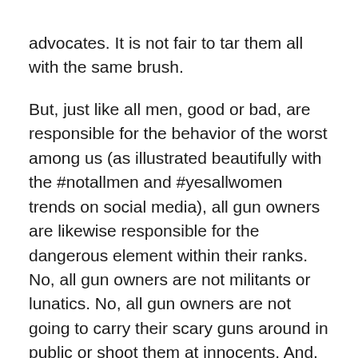advocates.  It is not fair to tar them all with the same brush.

But, just like all men, good or bad, are responsible for the behavior of the worst among us (as illustrated beautifully with the #notallmen and #yesallwomen trends on social media), all gun owners are likewise responsible for the dangerous element within their ranks.  No, all gun owners are not militants or lunatics.  No, all gun owners are not going to carry their scary guns around in public or shoot them at innocents.  And, no, all gun owners are not willing to kill or die in the fight against imaginary gun-grabbers or a tyrannical government.  Most are normal people, kind and compassionate and responsible, just with guns.  But, to those responsible gun owners: your right to own guns means that radicals also have that right.  Your refusal to accept limitations on gun ownership means that anyone